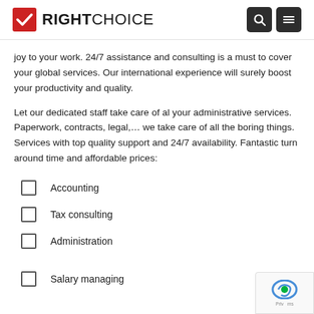RIGHT CHOICE
joy to your work. 24/7 assistance and consulting is a must to cover your global services. Our international experience will surely boost your productivity and quality.
Let our dedicated staff take care of al your administrative services. Paperwork, contracts, legal,… we take care of all the boring things. Services with top quality support and 24/7 availability. Fantastic turn around time and affordable prices:
Accounting
Tax consulting
Administration
Salary managing